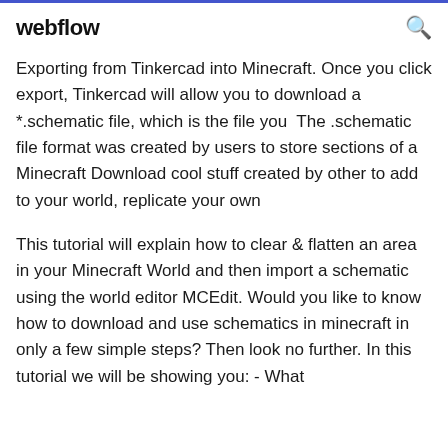webflow
Exporting from Tinkercad into Minecraft. Once you click export, Tinkercad will allow you to download a *.schematic file, which is the file you  The .schematic file format was created by users to store sections of a Minecraft Download cool stuff created by other to add to your world, replicate your own
This tutorial will explain how to clear & flatten an area in your Minecraft World and then import a schematic using the world editor MCEdit. Would you like to know how to download and use schematics in minecraft in only a few simple steps? Then look no further. In this tutorial we will be showing you: - What